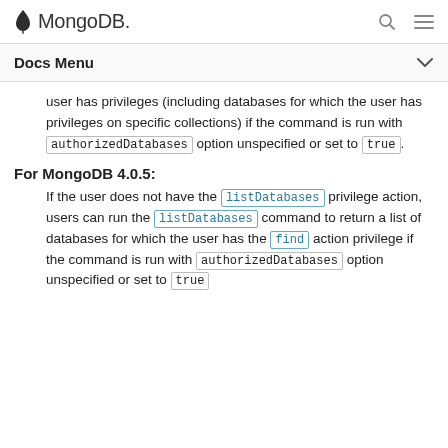MongoDB
Docs Menu
user has privileges (including databases for which the user has privileges on specific collections) if the command is run with authorizedDatabases option unspecified or set to true.
For MongoDB 4.0.5:
If the user does not have the listDatabases privilege action, users can run the listDatabases command to return a list of databases for which the user has the find action privilege if the command is run with authorizedDatabases option unspecified or set to true